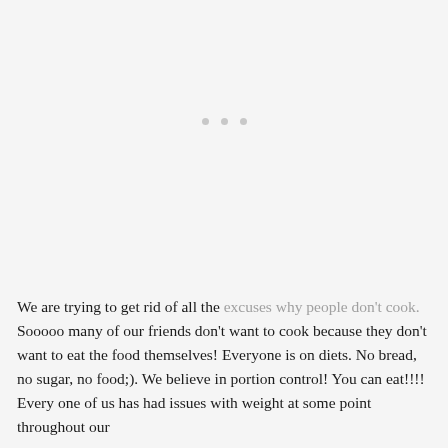[Figure (other): Three small grey dots centered horizontally, serving as a decorative section break or loading indicator on a light grey background.]
We are trying to get rid of all the excuses why people don't cook. Sooooo many of our friends don't want to cook because they don't want to eat the food themselves! Everyone is on diets. No bread, no sugar, no food;). We believe in portion control! You can eat!!!! Every one of us has had issues with weight at some point throughout our